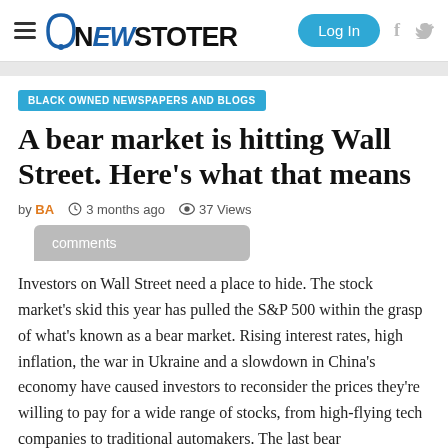NEWSTOTER — Log In
BLACK OWNED NEWSPAPERS AND BLOGS
A bear market is hitting Wall Street. Here’s what that means
by BA  3 months ago  37 Views
comments
Investors on Wall Street need a place to hide. The stock market’s skid this year has pulled the S&P 500 within the grasp of what’s known as a bear market. Rising interest rates, high inflation, the war in Ukraine and a slowdown in China’s economy have caused investors to reconsider the prices they’re willing to pay for a wide range of stocks, from high-flying tech companies to traditional automakers. The last bear